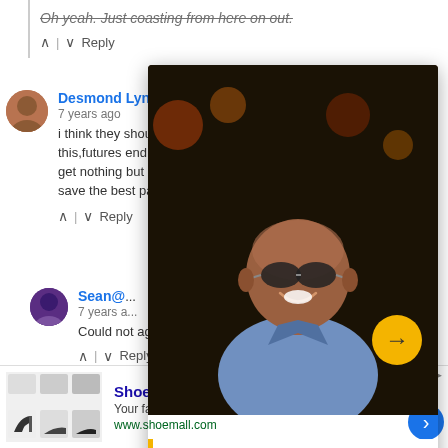Oh yeah. Just coasting from here on out.
^ | v  Reply
Desmond Lynch
7 years ago
i think they shou... this,futures end a... get nothing but c... d save the best pa...
^ | v  Reply
Sean@
7 years a...
Could not agr...
^ | v  Reply
[Figure (screenshot): Video overlay popup showing Dwayne Johnson (The Rock) smiling with sunglasses and a blue suit, with overlay controls (dots menu, X close button), a yellow progress bar at the top, and a yellow circular arrow/play button. Caption reads: Dwayne Johnson hopes for aDC/Marvelcrossover movie]
[Figure (screenshot): Ad banner for ShoeMall Shoes showing shoe images, title ShoeMall Shoes, text Your favorite shoe brands are here, URL www.shoemall.com, with close X button and blue arrow button]